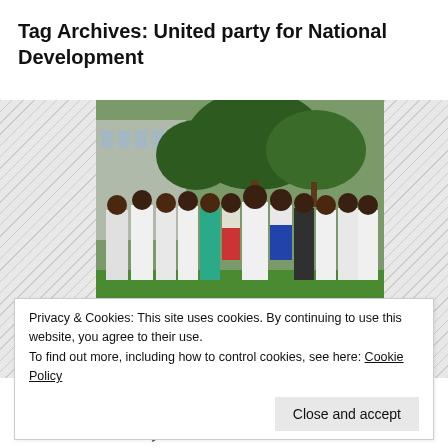Tag Archives: United party for National Development
[Figure (photo): Group of people mostly in white uniforms/lab coats standing outdoors on grass with trees and a building in background. One person wearing colorful blue skirt and another in red pants stand out among the group.]
Privacy & Cookies: This site uses cookies. By continuing to use this website, you agree to their use.
To find out more, including how to control cookies, see here: Cookie Policy
Close and accept
DECEMBER 4, 2013   LEAVE A COMMENT